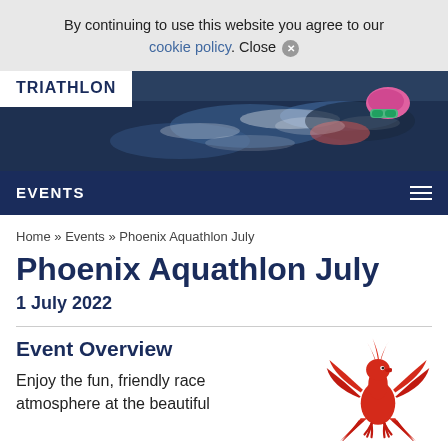By continuing to use this website you agree to our cookie policy. Close ✕
[Figure (photo): Triathlon swimmer in open water with pink swim cap and goggles, water splashing around them. White box with 'TRIATHLON' text overlaid on left.]
EVENTS
Home » Events » Phoenix Aquathlon July
Phoenix Aquathlon July
1 July 2022
Event Overview
Enjoy the fun, friendly race atmosphere at the beautiful
[Figure (logo): Red phoenix bird logo]